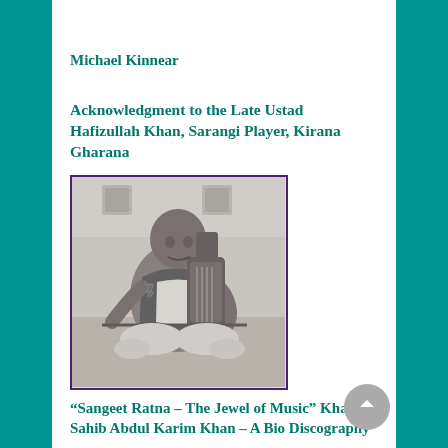Michael Kinnear
Acknowledgment to the Late Ustad Hafizullah Khan, Sarangi Player, Kirana Gharana
[Figure (photo): Black and white photograph of a man sitting cross-legged on the ground playing a sarangi (Indian string instrument), holding a bow. The photo is bordered with a dark purple/maroon frame.]
“Sangeet Ratna – The Jewel of Music” Khan Sahib Abdul Karim Khan – A Bio Discography